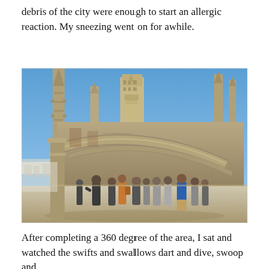debris of the city were enough to start an allergic reaction. My sneezing went on for awhile.
[Figure (photo): Tourists walking on the rooftop terrace of Seville Cathedral, with Gothic stone spires, flying buttresses, and the Giralda tower visible in the background under a clear blue sky.]
After completing a 360 degree of the area, I sat and watched the swifts and swallows dart and dive, swoop and